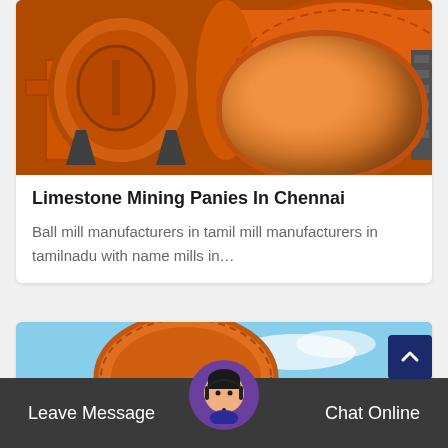[Figure (photo): Orange industrial ball mill machinery photographed up close, showing large cylindrical drum and support structure in orange color]
Limestone Mining Panies In Chennai
Ball mill manufacturers in tamil mill manufacturers in tamilnadu with name mills in…
[Figure (photo): Partial view of orange industrial ball mill equipment against blue sky background, with dark conveyor belt visible at bottom]
Leave Message
Chat Online